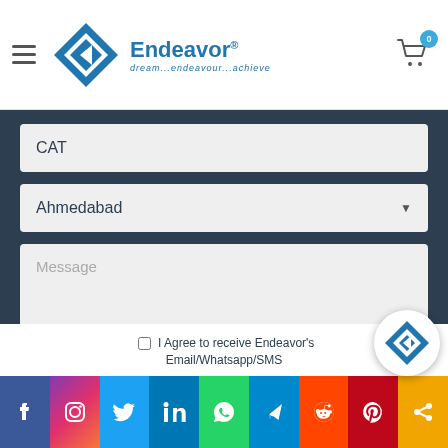[Figure (logo): Endeavor logo with blue diamond shape and text 'Endeavor dream...endeavour...achieve']
CAT
Ahmedabad
Message
I Agree to receive Endeavor's Email/Whatsapp/SMS
[Figure (other): Social media sharing bar with Facebook, Instagram, Twitter, LinkedIn, WhatsApp, Telegram, Reddit, Pinterest, More icons]